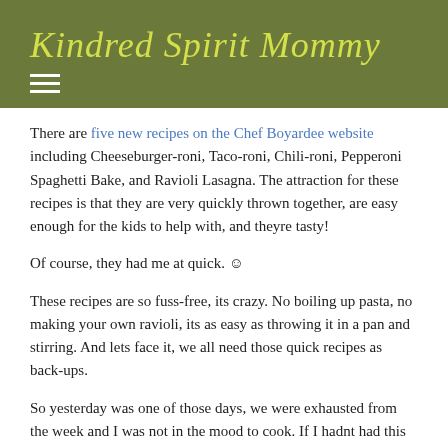Kindred Spirit Mommy
There are five new recipes on the Chef Boyardee website including Cheeseburger-roni, Taco-roni, Chili-roni, Pepperoni Spaghetti Bake, and Ravioli Lasagna. The attraction for these recipes is that they are very quickly thrown together, are easy enough for the kids to help with, and theyre tasty!
Of course, they had me at quick. ☺
These recipes are so fuss-free, its crazy. No boiling up pasta, no making your own ravioli, its as easy as throwing it in a pan and stirring. And lets face it, we all need those quick recipes as back-ups.
So yesterday was one of those days, we were exhausted from the week and I was not in the mood to cook. If I hadnt had this on hand, I probably would have resorted to take out. Im glad I